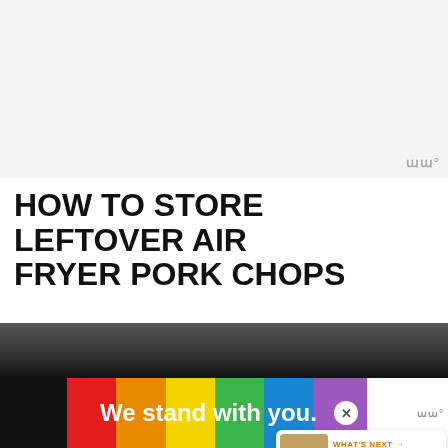[Figure (photo): Light gray/white background image area at top of page (ad or image placeholder)]
HOW TO STORE LEFTOVER AIR FRYER PORK CHOPS
Leftovers can be stored in an airtight container in the refrigerator. They will stay fresh for up to four days.
[Figure (photo): Thumbnail image of food (juicy air fryer item) in What's Next sidebar widget]
[Figure (photo): Bottom ad banner with rainbow stripes and text 'We stand with you.']